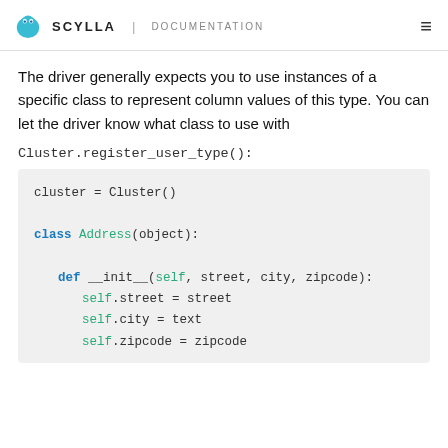SCYLLA | DOCUMENTATION
The driver generally expects you to use instances of a specific class to represent column values of this type. You can let the driver know what class to use with Cluster.register_user_type():
cluster = Cluster()

class Address(object):

    def __init__(self, street, city, zipcode):
        self.street = street
        self.city = text
        self.zipcode = zipcode